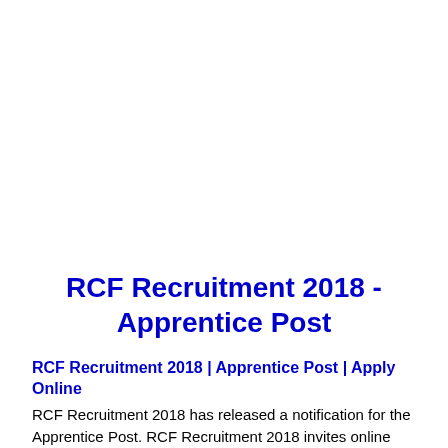RCF Recruitment 2018 - Apprentice Post
RCF Recruitment 2018 | Apprentice Post | Apply Online
RCF Recruitment 2018 has released a notification for the Apprentice Post. RCF Recruitment 2018 invites online